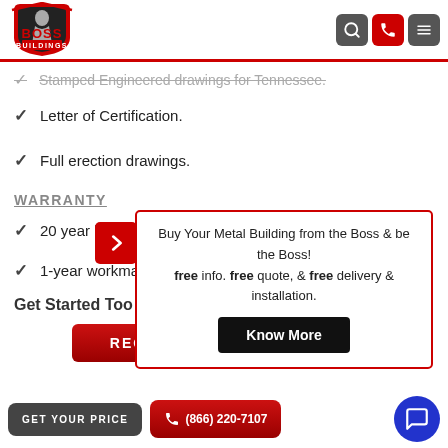[Figure (logo): Boss Buildings logo with spartan warrior and red/black text]
Stamped Engineered drawings for Tennessee.
Letter of Certification.
Full erection drawings.
WARRANTY
20 year limited paint warranty on all panels.
1-year workmanship warranty.
Get Started Today!
REQUEST A QUOTE
Buy Your Metal Building from the Boss & be the Boss! free info. free quote, & free delivery & installation.
Know More
GET YOUR PRICE
(866) 220-7107